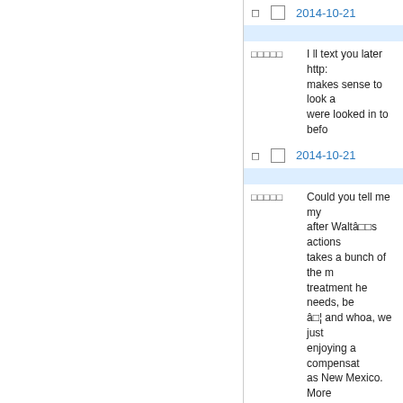2014-10-21
I ll text you later http: makes sense to look a were looked in to befo
2014-10-21
Could you tell me my after Waltâs actions takes a bunch of the m treatment he needs, be â¦ and whoa, we just enjoying a compensat as New Mexico. More
2014-10-21
I m at Liverpool Univ retailer said it expects wholesale prices andh